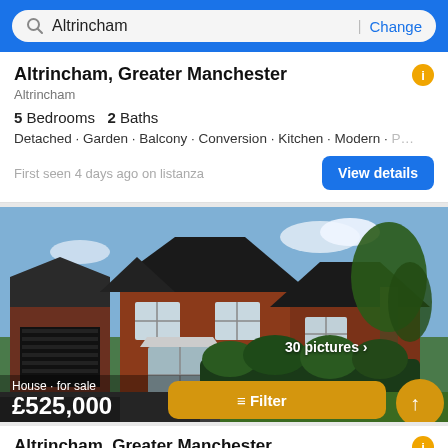Altrincham | Change
Altrincham, Greater Manchester
Altrincham
5 Bedrooms  2 Baths
Detached · Garden · Balcony · Conversion · Kitchen · Modern · P…
First seen 4 days ago on listanza
[Figure (photo): Red brick detached house with dark roof, white bay window, attached garage on left, lush hedge in foreground, large tree on right, blue sky]
House · for sale
£525,000
Altrincham, Greater Manchester